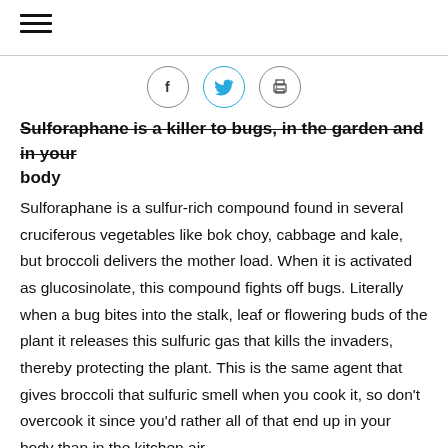≡ (hamburger menu icon)
[Figure (infographic): Social sharing icons: Facebook (f), Twitter (bird), and Print (printer) — each in a circle outline]
Sulforaphane is a killer to bugs, in the garden and in your body
Sulforaphane is a sulfur-rich compound found in several cruciferous vegetables like bok choy, cabbage and kale, but broccoli delivers the mother load. When it is activated as glucosinolate, this compound fights off bugs. Literally when a bug bites into the stalk, leaf or flowering buds of the plant it releases this sulfuric gas that kills the invaders, thereby protecting the plant. This is the same agent that gives broccoli that sulfuric smell when you cook it, so don't overcook it since you'd rather all of that end up in your body than in the kitchen air.